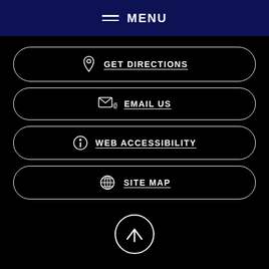MENU
GET DIRECTIONS
EMAIL US
WEB ACCESSIBILITY
SITE MAP
[Figure (illustration): Back to top arrow button — circle with upward arrow]